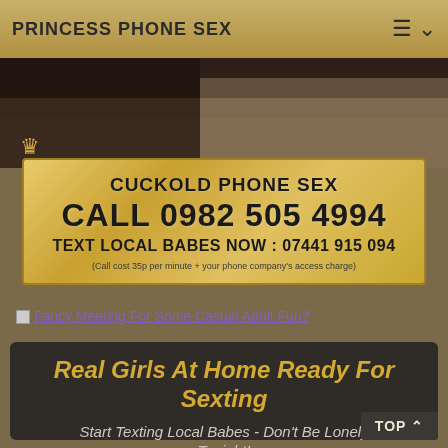PRINCESS PHONE SEX
[Figure (photo): Partial view of a person on a bed, dimly lit, with a gold crown icon overlay in the lower left.]
CUCKOLD PHONE SEX
CALL 0982 505 4994
TEXT LOCAL BABES NOW : 07441 915 094
(Call cost 35p per minute + your phone company's access charge)
Fancy Meeting For Some Casual Adult Fun?
Real Girls At Home Ready For Sexting
Start Texting Local Babes - Don't Be Lonely Tonight!